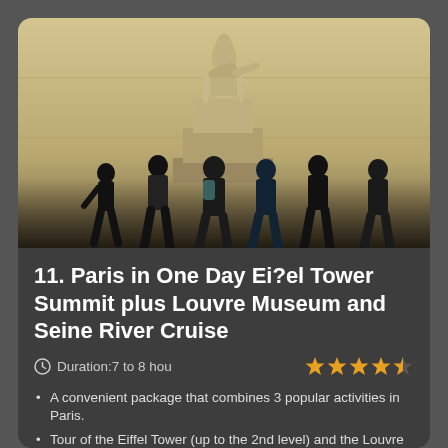[Figure (photo): Museum interior showing a large classical statue on a pedestal with silhouettes of visitors walking in the foreground against stone walls]
11. Paris in One Day Ei?el Tower Summit plus Louvre Museum and Seine River Cruise
Duration:7 to 8 hou
A convenient package that combines 3 popular activities in Paris.
Tour of the Eiffel Tower (up to the 2nd level) and the Louvre Museum.
A pleasant cruise on the River Seine along UNESCO-